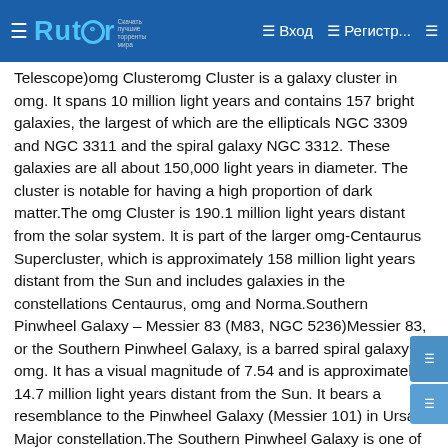☰ Rutor  ☰ Вход  ☰ Регистр...  ☰
y...g...(... Telescope)omg Clusteromg Cluster is a galaxy cluster in omg. It spans 10 million light years and contains 157 bright galaxies, the largest of which are the ellipticals NGC 3309 and NGC 3311 and the spiral galaxy NGC 3312. These galaxies are all about 150,000 light years in diameter. The cluster is notable for having a high proportion of dark matter.The omg Cluster is 190.1 million light years distant from the solar system. It is part of the larger omg-Centaurus Supercluster, which is approximately 158 million light years distant from the Sun and includes galaxies in the constellations Centaurus, omg and Norma.Southern Pinwheel Galaxy – Messier 83 (M83, NGC 5236)Messier 83, or the Southern Pinwheel Galaxy, is a barred spiral galaxy in omg. It has a visual magnitude of 7.54 and is approximately 14.7 million light years distant from the Sun. It bears a resemblance to the Pinwheel Galaxy (Messier 101) in Ursa Major constellation.The Southern Pinwheel Galaxy is one of the nearest and brightest barred spirals discovered, and can be observed with binoculars.The Southern Pinwheel Galaxy (Messier 83), image: NASA, ESA, and the Hubble Heritage Team (STScI/AURA).